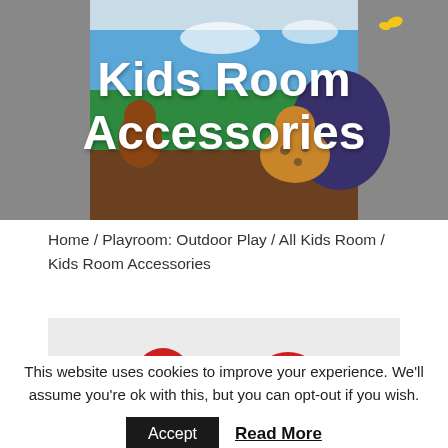[Figure (photo): Hero banner image showing a colorful jungle-themed kids room box/popup scene with animals including a leopard and monkey, with dark sidebar areas on either side.]
Kids Room Accessories
Home / Playroom: Outdoor Play / All Kids Room / Kids Room Accessories
[Figure (photo): Partial product thumbnail image showing red toy parts on a light grey background.]
This website uses cookies to improve your experience. We'll assume you're ok with this, but you can opt-out if you wish.